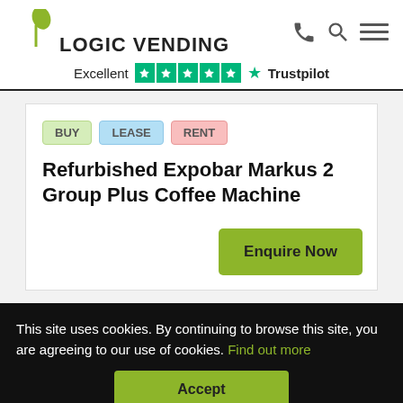LOGIC VENDING
Excellent ★★★★★ Trustpilot
BUY  LEASE  RENT
Refurbished Expobar Markus 2 Group Plus Coffee Machine
Enquire Now
This site uses cookies. By continuing to browse this site, you are agreeing to our use of cookies. Find out more
Accept